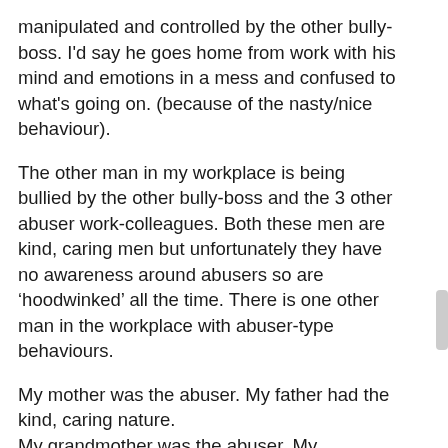manipulated and controlled by the other bully-boss. I'd say he goes home from work with his mind and emotions in a mess and confused to what's going on. (because of the nasty/nice behaviour).
The other man in my workplace is being bullied by the other bully-boss and the 3 other abuser work-colleagues. Both these men are kind, caring men but unfortunately they have no awareness around abusers so are 'hoodwinked' all the time. There is one other man in the workplace with abuser-type behaviours.
My mother was the abuser. My father had the kind, caring nature.
My grandmother was the abuser. My grandfather who was abused by her ended up a 'shell' on himself and shook with his nerves. My grandmother modelled abusive behaviour. Her 2 sons (my uncles) chose not to 'copy' her abusive behaviour. They are kind, caring and honest men. My mother chose to adopt her abusive mother's patterns and behaviours even though she knew it